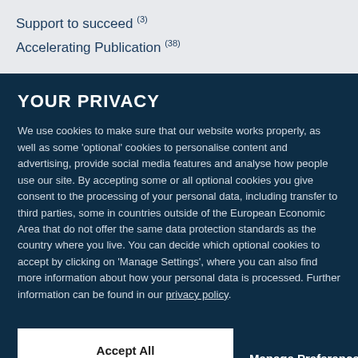Support to succeed (3)
Accelerating Publication (38)
YOUR PRIVACY
We use cookies to make sure that our website works properly, as well as some 'optional' cookies to personalise content and advertising, provide social media features and analyse how people use our site. By accepting some or all optional cookies you give consent to the processing of your personal data, including transfer to third parties, some in countries outside of the European Economic Area that do not offer the same data protection standards as the country where you live. You can decide which optional cookies to accept by clicking on 'Manage Settings', where you can also find more information about how your personal data is processed. Further information can be found in our privacy policy.
Accept All Cookies
Manage Preferences